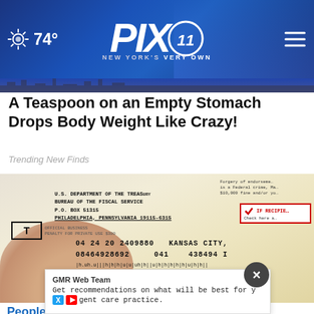PIX11 NEW YORK'S VERY OWN — 74°
A Teaspoon on an Empty Stomach Drops Body Weight Like Crazy!
Trending New Finds
[Figure (photo): U.S. Treasury Department check from Bureau of the Fiscal Service, P.O. Box 51315, Philadelphia, Pennsylvania 19115-6315, showing sample address: JOHN OE, 1234 MAIN STREET, ANYTOWN USA 81234 5678. Numbers shown: 04 24 20 2409880, KANSAS CITY, 08464928692, 041, 438494. Hand holding the check visible.]
GMR Web Team
Get recommendations on what will be best for y
gent care practice.
People on Medicare Are Getting a Big Surprise